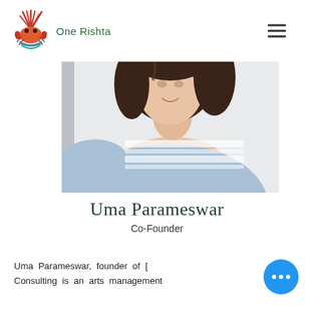One Rishta
[Figure (photo): Portrait photo of Uma Parameswar wearing a light blue sweater with white lace detail, dark shoulder-length hair, smiling, photographed from shoulders up against a light background.]
Uma Parameswar
Co-Founder
Uma Parameswar, founder of [One Rishta] Consulting is an arts management